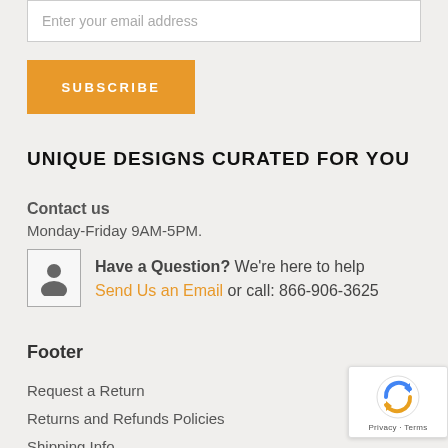Enter your email address
SUBSCRIBE
UNIQUE DESIGNS CURATED FOR YOU
Contact us
Monday-Friday 9AM-5PM.
Have a Question? We're here to help
Send Us an Email or call: 866-906-3625
Footer
Request a Return
Returns and Refunds Policies
Shipping Info